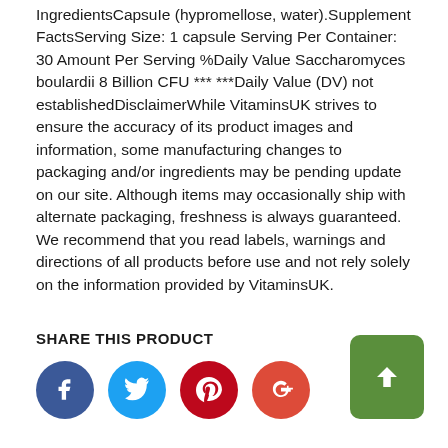IngredientsCapsuIe (hypromellose, water).Supplement FactsServing Size: 1 capsule Serving Per Container: 30 Amount Per Serving %Daily Value Saccharomyces boulardii 8 Billion CFU *** ***Daily Value (DV) not establishedDisclaimerWhile VitaminsUK strives to ensure the accuracy of its product images and information, some manufacturing changes to packaging and/or ingredients may be pending update on our site. Although items may occasionally ship with alternate packaging, freshness is always guaranteed. We recommend that you read labels, warnings and directions of all products before use and not rely solely on the information provided by VitaminsUK.
SHARE THIS PRODUCT
[Figure (other): Social media share icons: Facebook (blue circle), Twitter (light blue circle), Pinterest (red circle), Google+ (red-orange circle)]